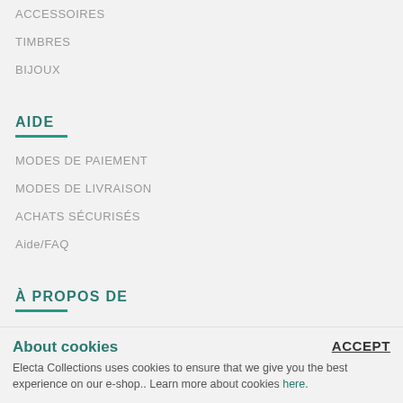ACCESSOIRES
TIMBRES
BIJOUX
AIDE
MODES DE PAIEMENT
MODES DE LIVRAISON
ACHATS SÉCURISÉS
Aide/FAQ
À PROPOS DE
QUI SOMMES-NOUS
CONDITIONS GÉNÉRALES DE VENTE
CONFIDENTIALITÉ
About cookies
Electa Collections uses cookies to ensure that we give you the best experience on our e-shop.. Learn more about cookies here.